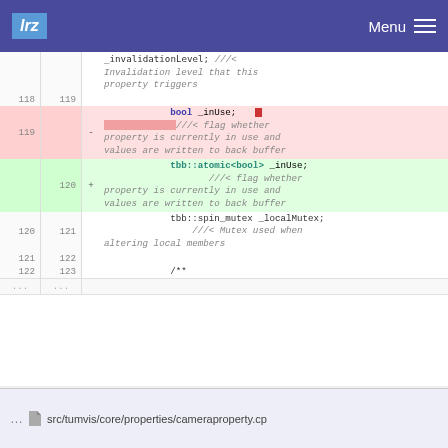lrz  Menu
| old_line | new_line | diff | code |
| --- | --- | --- | --- |
|  |  |  | _invalidationLevel;    ///< Invalidation level that this property triggers |
| 118 | 119 |  |  |
| 119 |  | - | bool _inUse;  ///< flag whether property is currently in use and values are written to back buffer |
|  | 120 | + | tbb::atomic<bool> _inUse;  ///< flag whether property is currently in use and values are written to back buffer |
| 120 | 121 |  | tbb::spin_mutex _localMutex;  ///< Mutex used when altering local members |
| 121 | 122 |  |  |
| 122 | 123 |  | /** |
| ... | ... |  |  |
... src/tumvis/core/properties/cameraproperty.cp